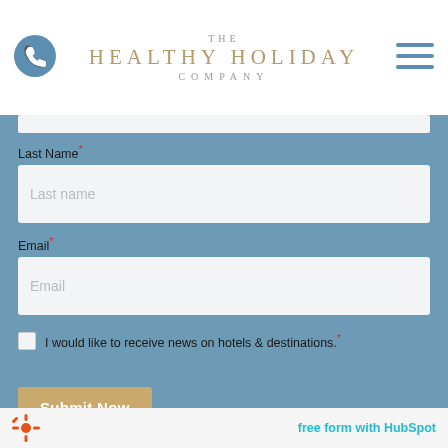[Figure (logo): The Healthy Holiday Company logo with phone icon on left and hamburger menu icon on right]
Last Name*
[Figure (screenshot): Last name input field with placeholder text 'Last name']
Email*
[Figure (screenshot): Email input field with placeholder text 'Email']
I would like to receive news on hotels & destinations.*
[Figure (screenshot): Submit Now button in golden/tan color]
free form with HubSpot